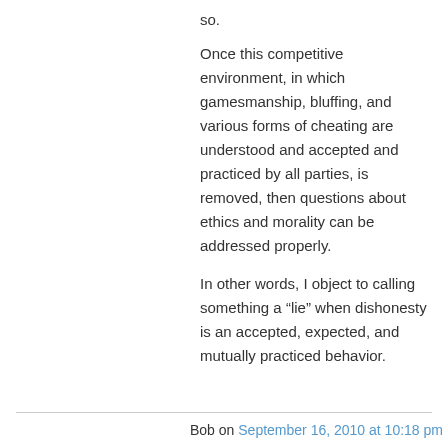so.
Once this competitive environment, in which gamesmanship, bluffing, and various forms of cheating are understood and accepted and practiced by all parties, is removed, then questions about ethics and morality can be addressed properly.
In other words, I object to calling something a “lie” when dishonesty is an accepted, expected, and mutually practiced behavior.
Bob on September 16, 2010 at 10:18 pm
Jeter will pay the price now everytime he steps in front of a Homebase Ump.